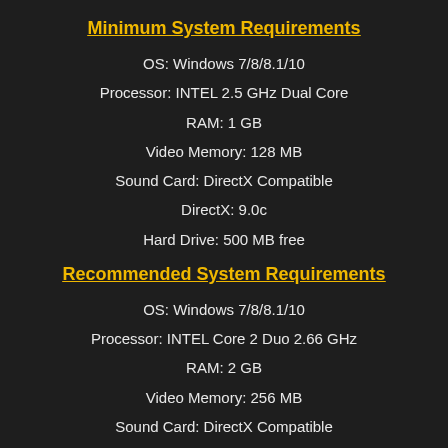Minimum System Requirements
OS: Windows 7/8/8.1/10
Processor: INTEL 2.5 GHz Dual Core
RAM: 1 GB
Video Memory: 128 MB
Sound Card: DirectX Compatible
DirectX: 9.0c
Hard Drive: 500 MB free
Recommended System Requirements
OS: Windows 7/8/8.1/10
Processor: INTEL Core 2 Duo 2.66 GHz
RAM: 2 GB
Video Memory: 256 MB
Sound Card: DirectX Compatible
DirectX: 9.0c